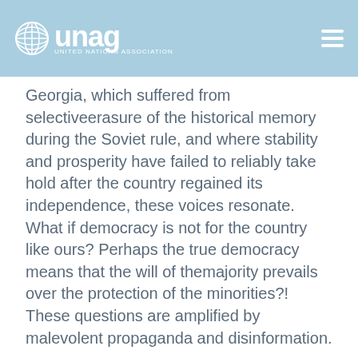unag — United Nations Association of Georgia
Georgia, which suffered from selective erasure of the historical memory during the Soviet rule, and where stability and prosperity have failed to reliably take hold after the country regained its independence, these voices resonate. What if democracy is not for the country like ours? Perhaps the true democracy means that the will of the majority prevails over the protection of the minorities?! These questions are amplified by malevolent propaganda and disinformation.
But democracy for Georgia is not a foreign concept, imposed for abroad: as the European nations were waking by the end of the 19th century, and the central and eastern